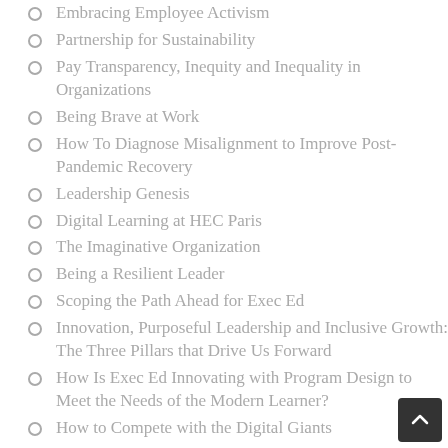Embracing Employee Activism
Partnership for Sustainability
Pay Transparency, Inequity and Inequality in Organizations
Being Brave at Work
How To Diagnose Misalignment to Improve Post-Pandemic Recovery
Leadership Genesis
Digital Learning at HEC Paris
The Imaginative Organization
Being a Resilient Leader
Scoping the Path Ahead for Exec Ed
Innovation, Purposeful Leadership and Inclusive Growth: The Three Pillars that Drive Us Forward
How Is Exec Ed Innovating with Program Design to Meet the Needs of the Modern Learner?
How to Compete with the Digital Giants
Apprenticeship Learning Panel Event